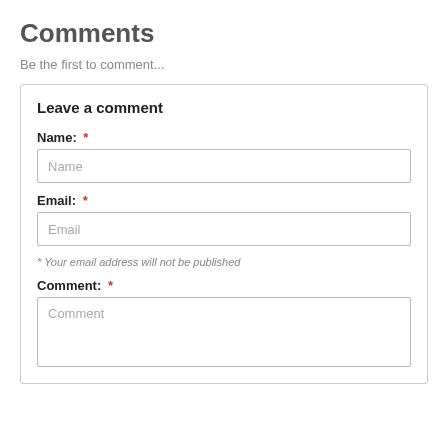Comments
Be the first to comment...
Leave a comment
Name: *
Email: *
* Your email address will not be published
Comment: *